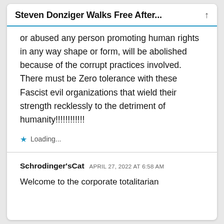Steven Donziger Walks Free After...
or abused any person promoting human rights in any way shape or form, will be abolished because of the corrupt practices involved. There must be Zero tolerance with these Fascist evil organizations that wield their strength recklessly to the detriment of humanity!!!!!!!!!!!!
Loading...
Schrodinger'sCat  APRIL 27, 2022 AT 6:58 AM
Welcome to the corporate totalitarian